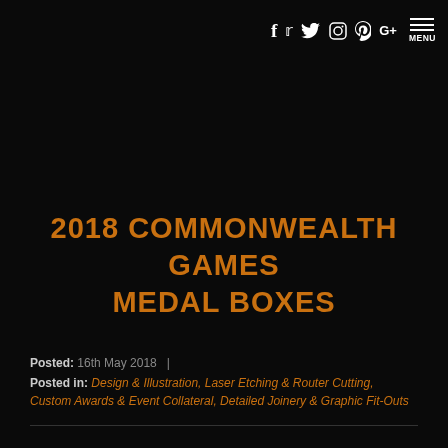f  twitter  instagram  pinterest  G+  MENU
2018 COMMONWEALTH GAMES MEDAL BOXES
Posted: 16th May 2018  |
Posted in: Design & Illustration, Laser Etching & Router Cutting, Custom Awards & Event Collateral, Detailed Joinery & Graphic Fit-Outs